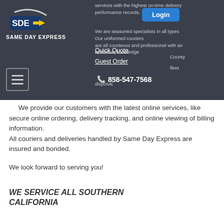[Figure (logo): Same Day Express logo — SDE arrow graphic with swoosh and 'SAME DAY EXPRESS' text in white on dark bar]
services with the highest on-time delivery performance records.
Login
We are seasoned specialists in all types. Our uniformed couriers are all courteous and professional with an extensive knowledge of San Diego County and the surrounding areas. We keep a fleet of cars, vans and cargo vans at your disposal.
Quick Quote
Guest Order
858-547-7568
We provide our customers with the latest online services, like secure online ordering, delivery tracking, and online viewing of billing information.
All couriers and deliveries handled by Same Day Express are insured and bonded.

We look forward to serving you!
WE SERVICE ALL SOUTHERN CALIFORNIA